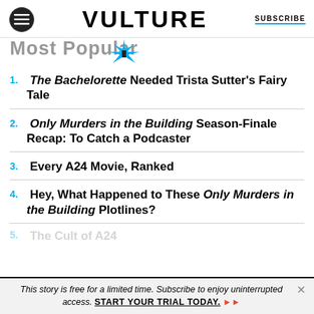VULTURE | SUBSCRIBE
Most Popular
The Bachelorette Needed Trista Sutter's Fairy Tale
Only Murders in the Building Season-Finale Recap: To Catch a Podcaster
Every A24 Movie, Ranked
Hey, What Happened to These Only Murders in the Building Plotlines?
This story is free for a limited time. Subscribe to enjoy uninterrupted access. START YOUR TRIAL TODAY.